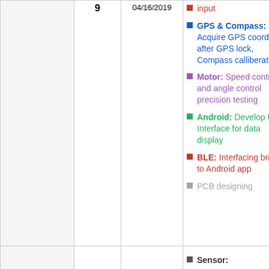|  | Week | Date | Tasks | Status |
| --- | --- | --- | --- | --- |
|  | 9 | 04/16/2019 | input
GPS & Compass: Acquire GPS coordinate after GPS lock, Compass calliberation
Motor: Speed control and angle control precision testing
Android: Develop User Interface for data display
BLE: Interfacing bridge to Android app
PCB designing | Com |
|  |  |  | Sensor: |  |